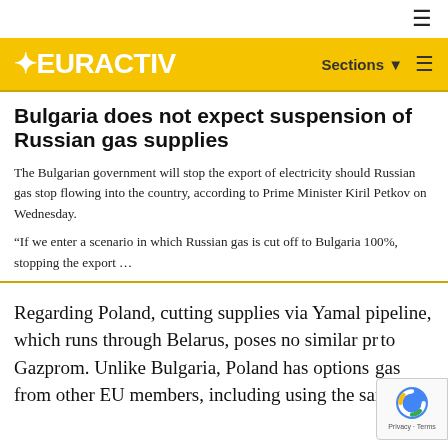EURACTIV
Bulgaria does not expect suspension of Russian gas supplies
The Bulgarian government will stop the export of electricity should Russian gas stop flowing into the country, according to Prime Minister Kiril Petkov on Wednesday.
“If we enter a scenario in which Russian gas is cut off to Bulgaria 100%, stopping the export …
Regarding Poland, cutting supplies via Yamal pipeline, which runs through Belarus, poses no similar pr… to Gazprom. Unlike Bulgaria, Poland has options… gas from other EU members, including using the same